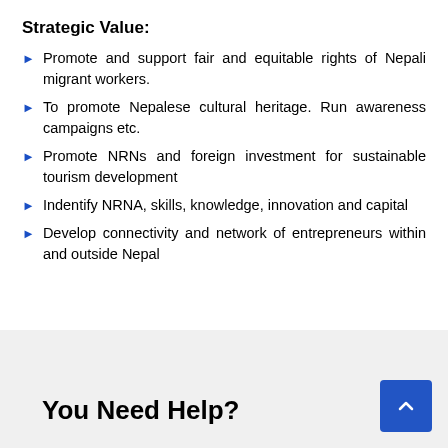Strategic Value:
Promote and support fair and equitable rights of Nepali migrant workers.
To promote Nepalese cultural heritage. Run awareness campaigns etc.
Promote NRNs and foreign investment for sustainable tourism development
Indentify NRNA, skills, knowledge, innovation and capital
Develop connectivity and network of entrepreneurs within and outside Nepal
You Need Help?